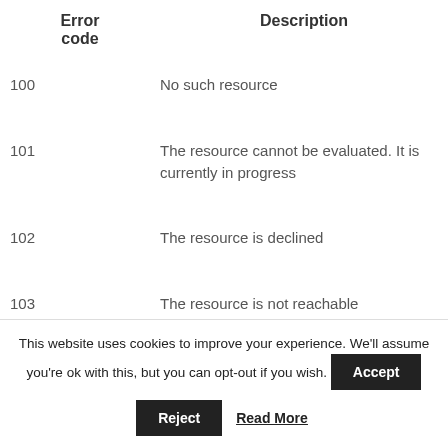| Error code | Description |
| --- | --- |
| 100 | No such resource |
| 101 | The resource cannot be evaluated. It is currently in progress |
| 102 | The resource is declined |
| 103 | The resource is not reachable |
This website uses cookies to improve your experience. We'll assume you're ok with this, but you can opt-out if you wish. Accept Reject Read More